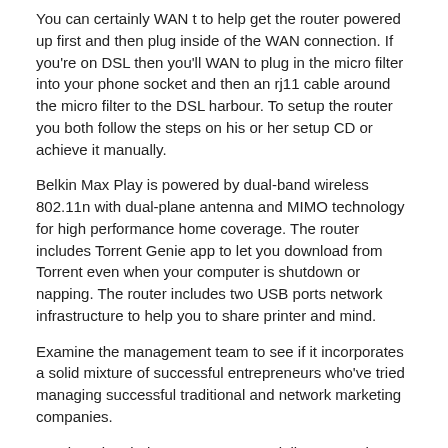You can certainly WAN t to help get the router powered up first and then plug inside of the WAN connection. If you're on DSL then you'll WAN to plug in the micro filter into your phone socket and then an rj11 cable around the micro filter to the DSL harbour. To setup the router you both follow the steps on his or her setup CD or achieve it manually.
Belkin Max Play is powered by dual-band wireless 802.11n with dual-plane antenna and MIMO technology for high performance home coverage. The router includes Torrent Genie app to let you download from Torrent even when your computer is shutdown or napping. The router includes two USB ports network infrastructure to help you to share printer and mind.
Examine the management team to see if it incorporates a solid mixture of successful entrepreneurs who've tried managing successful traditional and network marketing companies.
Just bear in mind you SD-WAN specialist want to have MPLS at every site to ensure to full take regarding the systems. However, from the US, every telco ATT, Sprint, Verizon, GX can offer service globally.
Now sd-one am not a vendor of Tahitian pearls, however am an admirer, and that i like for you to do my search for. Although Tahitian pearls are beautiful, process, which is be costly. But with a little research and data it is not necessary to overpay as tourists frequently do.